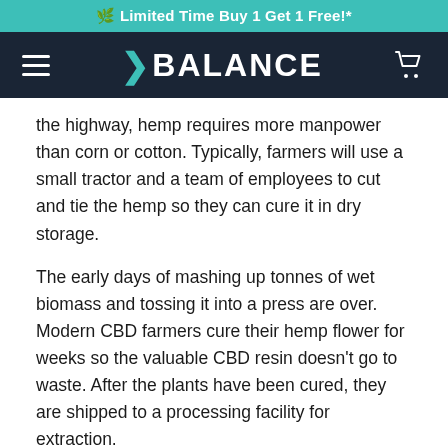🌿 Limited Time Buy 1 Get 1 Free!*
[Figure (logo): Balance brand logo on dark navy navigation bar with hamburger menu on left and shopping cart icon on right]
the highway, hemp requires more manpower than corn or cotton. Typically, farmers will use a small tractor and a team of employees to cut and tie the hemp so they can cure it in dry storage.
The early days of mashing up tonnes of wet biomass and tossing it into a press are over. Modern CBD farmers cure their hemp flower for weeks so the valuable CBD resin doesn't go to waste. After the plants have been cured, they are shipped to a processing facility for extraction.
3. EXTRACTING BIOMASS FOR CBD
Most CBD companies you buy your oils and edibles from